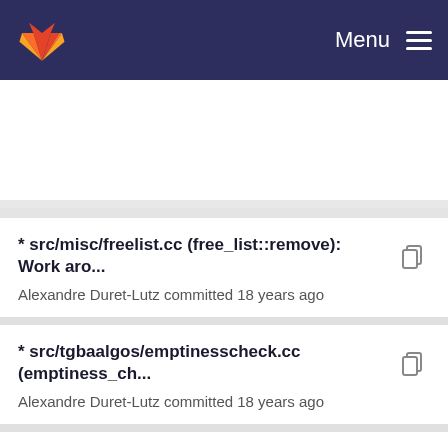[Figure (screenshot): GitLab navigation bar with orange fox logo and Menu hamburger icon on dark navy background]
* src/misc/freelist.cc (free_list::remove): Work aro...
Alexandre Duret-Lutz committed 18 years ago
* src/tgbaalgos/emptinesscheck.cc (emptiness_ch...
Alexandre Duret-Lutz committed 18 years ago
* src/misc/freelist.hh (free_list::remove, free_list::i...
Alexandre Duret-Lutz committed 18 years ago